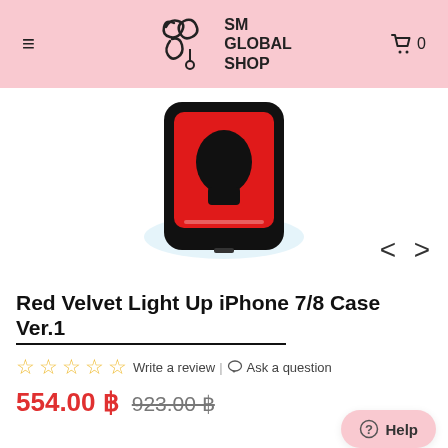SM GLOBAL SHOP
[Figure (photo): Product photo of Red Velvet Light Up iPhone 7/8 Case Ver.1 showing a phone case with red background and black design, partially visible from top. Navigation arrows (< >) are visible at bottom right.]
Red Velvet Light Up iPhone 7/8 Case Ver.1
Write a review | Ask a question
554.00 ฿  923.00 ฿